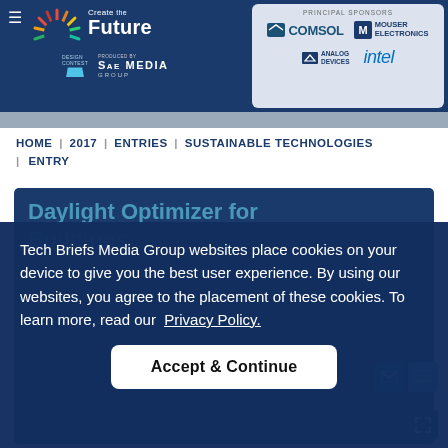Create the Future Design Contest — Produced by SAE Media Group
[Figure (logo): Create the Future Design Contest logo with sunburst graphic, produced by SAE Media Group]
[Figure (logo): Principal Sponsors: COMSOL, Mouser Electronics, Analog Devices, Intel]
HOME | 2017 | ENTRIES | SUSTAINABLE TECHNOLOGIES | ENTRY
Daylight Optimizer for Buildings
Tech Briefs Media Group websites place cookies on your device to give you the best user experience. By using our websites, you agree to the placement of these cookies. To learn more, read our Privacy Policy.
Accept & Continue